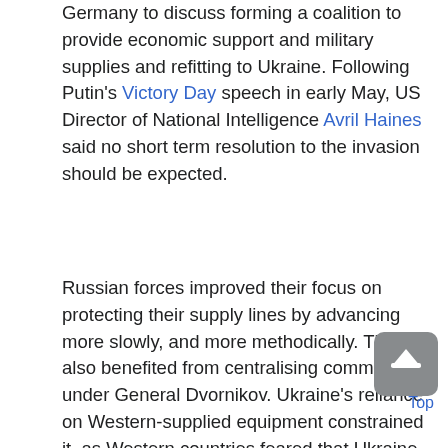Germany to discuss forming a coalition to provide economic support and military supplies and refitting to Ukraine. Following Putin's Victory Day speech in early May, US Director of National Intelligence Avril Haines said no short term resolution to the invasion should be expected.
Russian forces improved their focus on protecting their supply lines by advancing more slowly, and more methodically. They also benefited from centralising command under General Dvornikov. Ukraine's reliance on Western-supplied equipment constrained it, as Western countries feared that Ukraine would use it to strike targets in Russia. Military experts disagree on the future of the conflict; some have suggested trading territory for peace, while others believe that Ukraine can sustain their resistance to the invasion, due to the Russian losses. On 26 May 2022, the Conflict Intelligence Team, citing Russian soldiers, reported that Colonel General Gennady Zhidko had been put in charge of Russian forces during the 2022 Russian invasion of Ukraine, replacing Army General Dvornikov. By